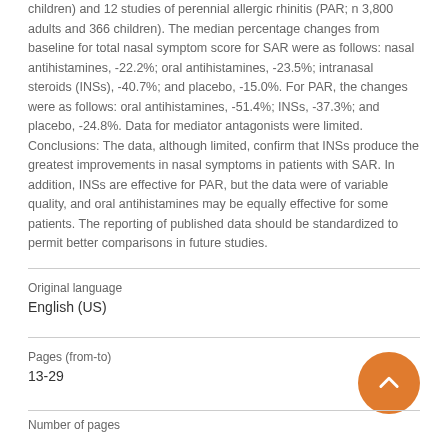children) and 12 studies of perennial allergic rhinitis (PAR; n 3,800 adults and 366 children). The median percentage changes from baseline for total nasal symptom score for SAR were as follows: nasal antihistamines, -22.2%; oral antihistamines, -23.5%; intranasal steroids (INSs), -40.7%; and placebo, -15.0%. For PAR, the changes were as follows: oral antihistamines, -51.4%; INSs, -37.3%; and placebo, -24.8%. Data for mediator antagonists were limited. Conclusions: The data, although limited, confirm that INSs produce the greatest improvements in nasal symptoms in patients with SAR. In addition, INSs are effective for PAR, but the data were of variable quality, and oral antihistamines may be equally effective for some patients. The reporting of published data should be standardized to permit better comparisons in future studies.
| Field | Value |
| --- | --- |
| Original language | English (US) |
| Pages (from-to) | 13-29 |
| Number of pages |  |